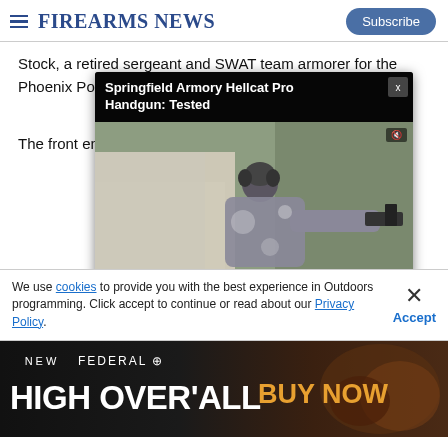Firearms News | Subscribe
Stock, a retired sergeant and SWAT team armorer for the Phoenix Police Department, who has, founded by, and available...
[Figure (screenshot): Video player overlay showing 'Springfield Armory Hellcat Pro Handgun: Tested' with a shooter at a range, video controls showing 00:00 / 04:26, with close button (x) in top right corner]
The front end of... o'clock MIL-STD... Defense Rail Mo... Point. The rear...
We use cookies to provide you with the best experience in Outdoors programming. Click accept to continue or read about our Privacy Policy.
[Figure (screenshot): Federal Premium advertisement banner: 'NEW FEDERAL HIGH OVER'ALL - BUY NOW' with dark background and ammo imagery]